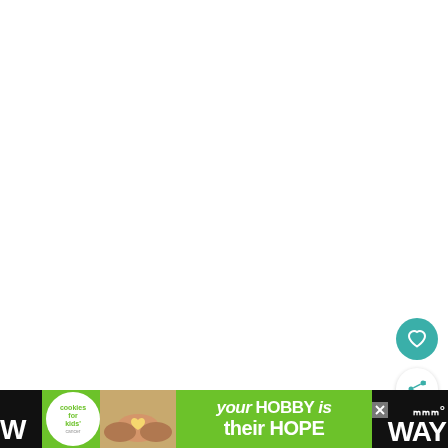[Figure (screenshot): White content area of a webpage, mostly blank/white space occupying the upper portion of the page]
[Figure (illustration): Teal circular button with a white heart icon (favorite/like button)]
[Figure (illustration): White circular share button with teal share/add icon]
[Figure (illustration): Advertisement banner at the bottom. Green background with Cookies for Kids Cancer logo (white circle with green text), photo of hands holding a heart-shaped cookie, and text 'your HOBBY is their HOPE'. Black bar on either side with partial white text: 'W...' on left and 'III° WAY' on right.]